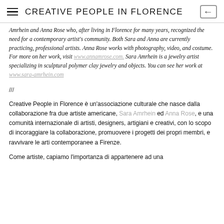CREATIVE PEOPLE IN FLORENCE
Amrhein and Anna Rose who, after living in Florence for many years, recognized the need for a contemporary artist's community. Both Sara and Anna are currently practicing, professional artists. Anna Rose works with photography, video, and costume. For more on her work, visit www.annamrose.com. Sara Amrhein is a jewelry artist specializing in sculptural polymer clay jewelry and objects. You can see her work at www.sara-amrhein.com
///
Creative People in Florence è un'associazione culturale che nasce dalla collaborazione fra due artiste americane, Sara Amrhein ed Anna Rose, e una comunità internazionale di artisti, designers, artigiani e creativi, con lo scopo di incoraggiare la collaborazione, promuovere i progetti dei propri membri, e ravvivare le arti contemporanee a Firenze.
Come artiste, capiamo l'importanza di appartenere ad una